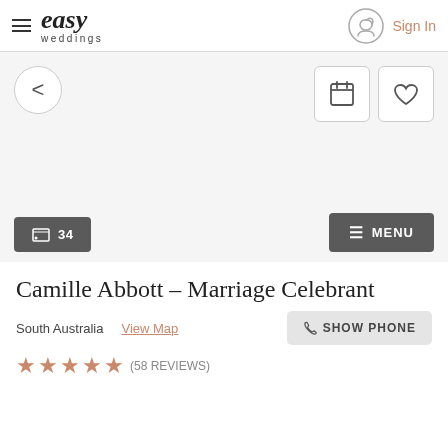easy weddings — Sign In
[Figure (screenshot): Hero image area (blank/white) for Camille Abbott - Marriage Celebrant listing]
34
≡ MENU
Camille Abbott – Marriage Celebrant
South Australia   View Map   SHOW PHONE
★★★★★ (58 REVIEWS)